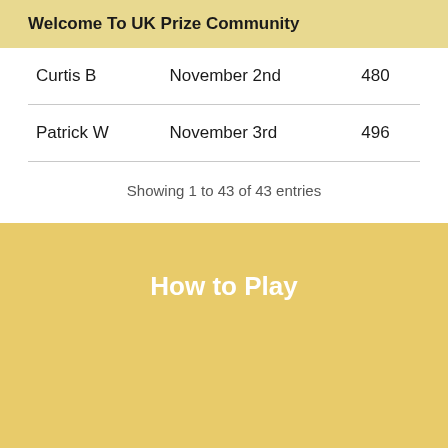Welcome To UK Prize Community
| Curtis B | November 2nd | 480 |
| Patrick W | November 3rd | 496 |
Showing 1 to 43 of 43 entries
How to Play